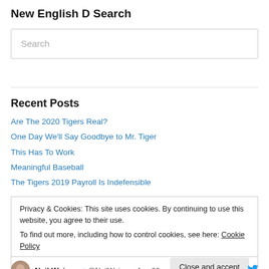New English D Search
[Figure (screenshot): Search input box with placeholder text 'Search']
Recent Posts
Are The 2020 Tigers Real?
One Day We'll Say Goodbye to Mr. Tiger
This Has To Work
Meaningful Baseball
The Tigers 2019 Payroll Is Indefensible
Privacy & Cookies: This site uses cookies. By continuing to use this website, you agree to their use.
To find out more, including how to control cookies, see here: Cookie Policy
Close and accept
Neil Wein... ✓ @NeilWein... · Aug 20